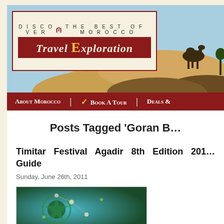[Figure (screenshot): Travel Exploration website header with logo showing 'DISCOVER THE BEST OF MOROCCO' and 'Travel Exploration' in red banner, with desert/camel background image]
About Morocco | ✓ Book A Tour | Deals
Posts Tagged 'Goran B…'
Timitar Festival Agadir 8th Edition 2011… Guide
Sunday, June 26th, 2011
[Figure (photo): Decorative image with green and teal artistic design, appears to be festival-related artwork]